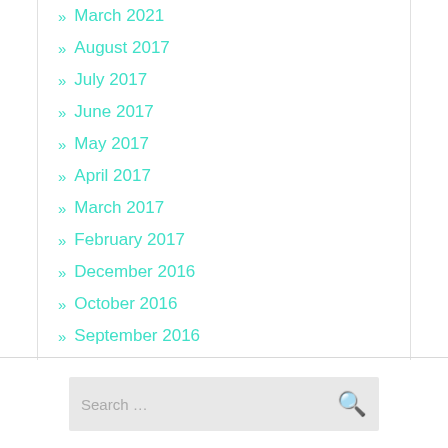» March 2021
» August 2017
» July 2017
» June 2017
» May 2017
» April 2017
» March 2017
» February 2017
» December 2016
» October 2016
» September 2016
» August 2016
Search ...